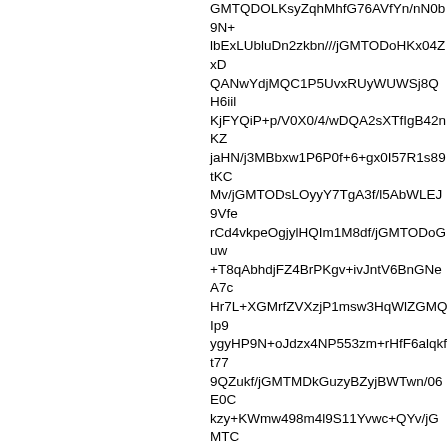GMTQDOLKsyZqhMhfG76AVfYn/nN0b9N+lbExLUbluDn2zkbn///jGMTODoHKx04ZxDQANwYdjMQC1P5UvxRUyWUWSj8QH6iilKjFYQiP+p/V0X0/4/wDQA2sXTfIgB42nKZxjaHN/j3MBbxw1P6P0f+6+gx0I57R1s89tKCMv/jGMTODsLOyyY7TgA3f/l5AbWLEJ9VferCd4vkpeOgjylHQIm1M8df/jGMTODoGuw+T8qAbhdjFZ4BrPKgv+ivJntV6BnGNeA7cHr7L+XGMrfZVXzjP1msw3HqWlZGMQIp9ygyHP9N+oJdzx4NP553zm+rHfF6alqkft779QZukf/jGMTMDkGuzyBZyjBWTwn/06E0Ckzy+KWmw498m4l9S11Yvwc+QYv/jGMTC+9/dqxcA8qPoOgoxeYTwpYzu+C6FK9VqxOt9TG/r2f5pY5eLu9fdxf7pBvRyHBMAC0ayyRqSkCh5/xrf7c4p7Wp41vTL0/ihed9Zv01U9kNk21CBv/jGMTPDsGqxyRDzgjvGfU/74YLEzL84515etK00y+XjdbvIvkie1O//jGMTPg59Ub0dHEVGwMiwqMsaK9wJ4tL5a5rFfo7F+Vv8/X6M3Tt/7BF0//qO//4534vwlA9rCZDgGuyyRpykyT6DfcLv2G/Z//+C6/Qjcvb/4Cg+3NV5X8Rt+r/P/jGMTRDwGuyyJ7RBRlvTiYqsTRtFxVKCZO2/bnQ5+ONZ86EQCE4Ff/+7j/2EeUFg9J/MBb6HedKhjQgnfJkRDjpb5Q9+hv3+JArf1b/jSG/X/9X//xv3///oYf/m/yGMTQDkJGzyJaCkj8h/S3xFb9vr8wfl/6P/4HjlRZUWHVOp4Bp+i2//jGMTSEAJGzyRqsG4pgejABOpFsyMz9WDwbqPh013kCSefa/r//3M/+3eZv+otkPy2oGqmI9zt7c5XcaO/64nfOAL/f80h/9B4OQ7//9vmnf/2//uYr////xxIvygP/jGMTODkKyzyBZymii/78ob+/zQsv/9f1ZiNif3Uih37bteea00B5f//jGMTODm